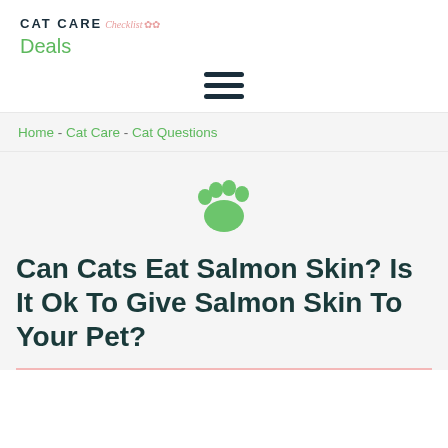CAT CARE Checklist 🌸 Deals
[Figure (other): Hamburger menu icon with three horizontal lines]
Home - Cat Care - Cat Questions
[Figure (illustration): Green paw print icon]
Can Cats Eat Salmon Skin? Is It Ok To Give Salmon Skin To Your Pet?